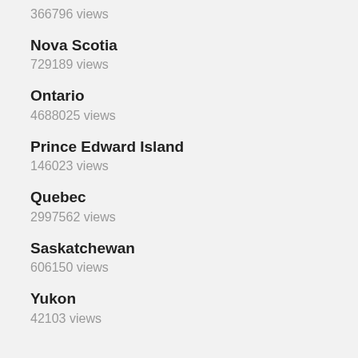366796 views
Nova Scotia
729189 views
Ontario
4688025 views
Prince Edward Island
146023 views
Quebec
2997562 views
Saskatchewan
606150 views
Yukon
42103 views